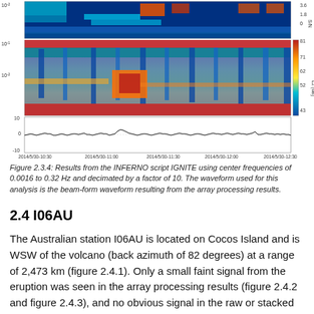[Figure (continuous-plot): Multi-panel spectrogram and waveform plot showing INFERNO/IGNITE results. Top panel: SNR colormap (blue to red, S/N scale 1.8-3.6). Middle panel: Lz (dB) spectrogram (blue to red scale 43-81 dB) with frequency axis 10^-2 to 10^-1 Hz. Bottom panel: waveform trace from approximately -10 to +10, near zero baseline. X-axis shows UTC times from 2014/5/30-10:30 to 2014/5/30-12:30.]
Figure 2.3.4: Results from the INFERNO script IGNITE using center frequencies of 0.0016 to 0.32 Hz and decimated by a factor of 10. The waveform used for this analysis is the beam-form waveform resulting from the array processing results.
2.4 I06AU
The Australian station I06AU is located on Cocos Island and is WSW of the volcano (back azimuth of 82 degrees) at a range of 2,473 km (figure 2.4.1). Only a small faint signal from the eruption was seen in the array processing results (figure 2.4.2 and figure 2.4.3), and no obvious signal in the raw or stacked data (not shown). Due to the season the signal was expected